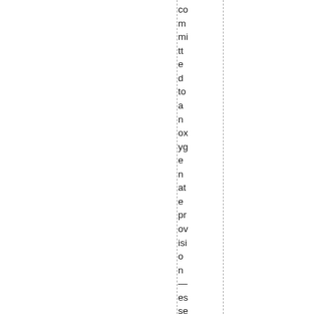committed to an oxygenate provision — essentially a man